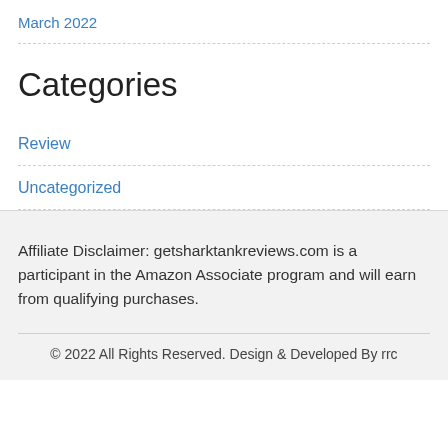March 2022
Categories
Review
Uncategorized
Affiliate Disclaimer: getsharktankreviews.com is a participant in the Amazon Associate program and will earn from qualifying purchases.
© 2022 All Rights Reserved. Design & Developed By rrc